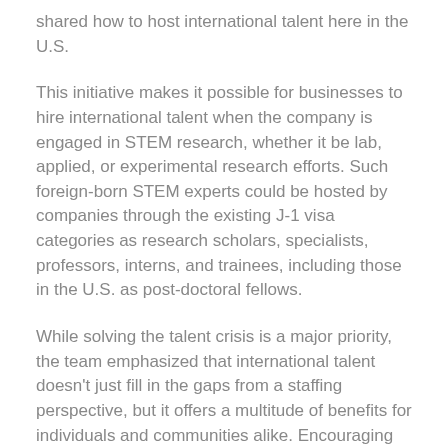shared how to host international talent here in the U.S.
This initiative makes it possible for businesses to hire international talent when the company is engaged in STEM research, whether it be lab, applied, or experimental research efforts. Such foreign-born STEM experts could be hosted by companies through the existing J-1 visa categories as research scholars, specialists, professors, interns, and trainees, including those in the U.S. as post-doctoral fellows.
While solving the talent crisis is a major priority, the team emphasized that international talent doesn’t just fill in the gaps from a staffing perspective, but it offers a multitude of benefits for individuals and communities alike. Encouraging interactions and experiences across different cultures is what helps our businesses innovate, and ultimately, succeed.